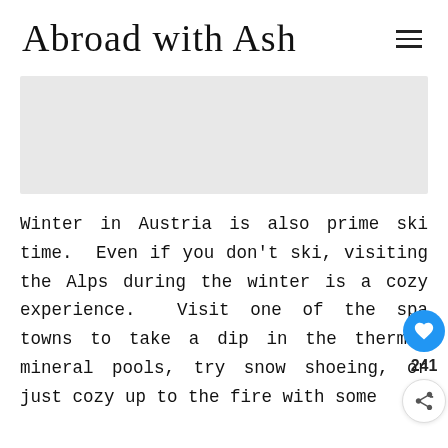Abroad with Ash
[Figure (photo): Light gray image placeholder rectangle]
Winter in Austria is also prime ski time.  Even if you don't ski, visiting the Alps during the winter is a cozy experience.  Visit one of the spa towns to take a dip in the thermal mineral pools, try snow shoeing, or just cozy up to the fire with some